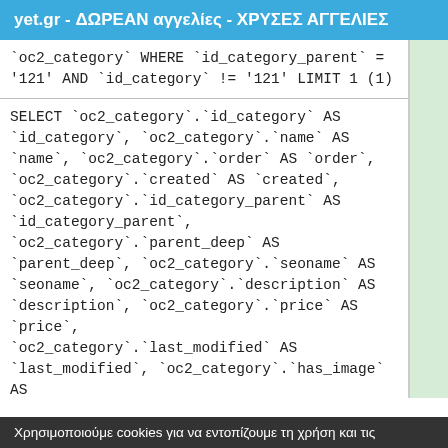yet.gr - ΔΩΡΕΑΝ αγγελίες - ΧΡΥΣΕΣ ΑΓΓΕΛΙΕΣ
`oc2_category` WHERE `id_category_parent` = '121' AND `id_category` != '121' LIMIT 1 (1)
SELECT `oc2_category`.`id_category` AS `id_category`, `oc2_category`.`name` AS `name`, `oc2_category`.`order` AS `order`, `oc2_category`.`created` AS `created`, `oc2_category`.`id_category_parent` AS `id_category_parent`, `oc2_category`.`parent_deep` AS `parent_deep`, `oc2_category`.`seoname` AS `seoname`, `oc2_category`.`description` AS `description`, `oc2_category`.`price` AS `price`, `oc2_category`.`last_modified` AS `last_modified`, `oc2_category`.`has_image` AS `has_image` FROM `oc2_categories` AS `oc2_category` WHERE `id_category_parent` =
Χρησιμοποιούμε cookies για να εντοπίζουμε τη χρήση και τις